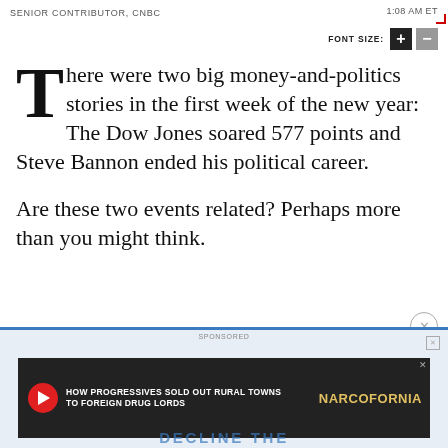SENIOR CONTRIBUTOR, CNBC    1:08 AM ET
FONT SIZE: + −
There were two big money-and-politics stories in the first week of the new year: The Dow Jones soared 577 points and Steve Bannon ended his political career.
Are these two events related? Perhaps more than you might think.
[Figure (screenshot): Advertisement banner: Narcofornia video ad with text 'HOW PROGRESSIVES SOLD OUT RURAL TOWNS TO FOREIGN DRUG LORDS' and 'WATCH NOW' button. Below it partially visible text 'DECLINE THE'.]